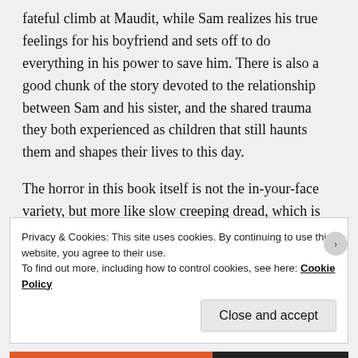fateful climb at Maudit, while Sam realizes his true feelings for his boyfriend and sets off to do everything in his power to save him. There is also a good chunk of the story devoted to the relationship between Sam and his sister, and the shared trauma they both experienced as children that still haunts them and shapes their lives to this day.
The horror in this book itself is not the in-your-face variety, but more like slow creeping dread, which is what I love about the author's books. You won't find too much gore in here; instead, you get lots of disturbing scenarios, suspenseful moments and unsettling imagery.
Privacy & Cookies: This site uses cookies. By continuing to use this website, you agree to their use.
To find out more, including how to control cookies, see here: Cookie Policy

Close and accept